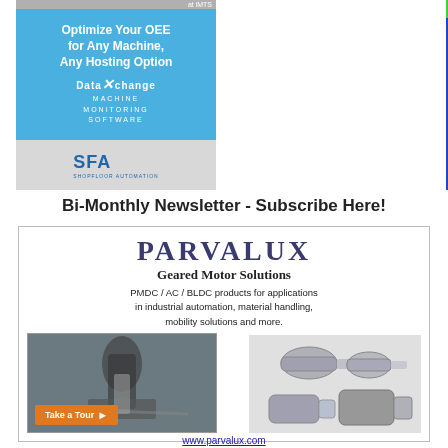[Figure (illustration): Left advertisement: blue box with 'Optimize Your OEE for Any Machine, Any Hosting Option', DataXchange Machine Monitoring Software, SFA logo]
[Figure (illustration): Right advertisement: dark blue box with green top bar, Safety Bootcamp Sept 13-15 Spartanburg SC, training topics include Associate Engagement, Safety auditing & diagnosis, Milliken Plant tour, and more]
Bi-Monthly Newsletter - Subscribe Here!
[Figure (illustration): Parvalux advertisement box: Parvalux Geared Motor Solutions, PMDC/AC/BLDC products, industrial automation, material handling, mobility solutions. Left: machining photo with Take a Tour button. Right: motor products photo. URL: www.parvalux.com]